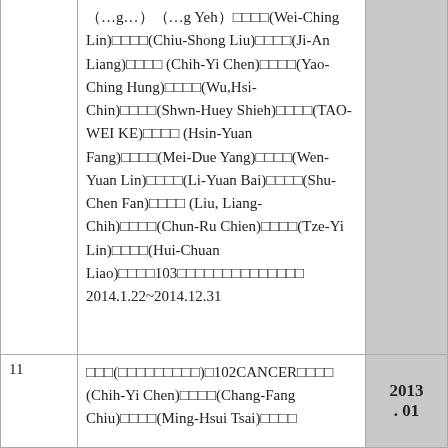| # | Content | Year |
| --- | --- | --- |
|  | （…g…）（…g Yeh）□□□□(Wei-Ching Lin)□□□□(Chiu-Shong Liu)□□□□(Ji-An Liang)□□□□(Chih-Yi Chen)□□□□(Yao-Ching Hung)□□□□(Wu,Hsi-Chin)□□□□(Shwn-Huey Shieh)□□□□(TAO-WEI KE)□□□□(Hsin-Yuan Fang)□□□□(Mei-Due Yang)□□□□(Wen-Yuan Lin)□□□□(Li-Yuan Bai)□□□□(Shu-Chen Fan)□□□□(Liu, Liang-Chih)□□□□(Chun-Ru Chien)□□□□(Tze-Yi Lin)□□□□(Hui-Chuan Liao)□□□□103□□□□□□□□□□□□□□ 2014.1.22~2014.12.31 |  |
| 11 | □□□(□□□□□□□□□)□102CANCER□□□□(Chih-Yi Chen)□□□□(Chang-Fang Chiu)□□□□(Ming-Hsui Tsai)□□□□ | 2013.01 |